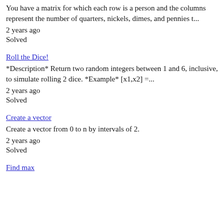You have a matrix for which each row is a person and the columns represent the number of quarters, nickels, dimes, and pennies t...
2 years ago
Solved
Roll the Dice!
*Description* Return two random integers between 1 and 6, inclusive, to simulate rolling 2 dice. *Example* [x1,x2] =...
2 years ago
Solved
Create a vector
Create a vector from 0 to n by intervals of 2.
2 years ago
Solved
Find max